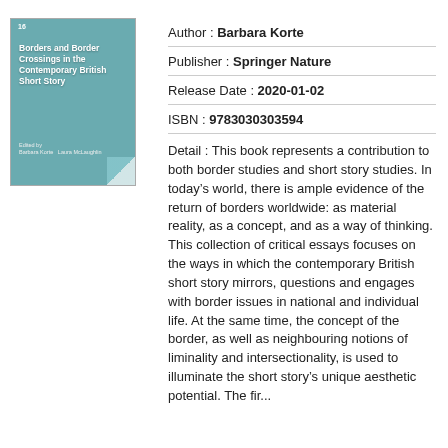[Figure (illustration): Book cover of 'Borders and Border Crossings in the Contemporary British Short Story', teal/blue color with white text, edited by Barbara Korte and others, with a folded page corner effect]
Author : Barbara Korte
Publisher : Springer Nature
Release Date : 2020-01-02
ISBN : 9783030303594
Detail : This book represents a contribution to both border studies and short story studies. In today’s world, there is ample evidence of the return of borders worldwide: as material reality, as a concept, and as a way of thinking. This collection of critical essays focuses on the ways in which the contemporary British short story mirrors, questions and engages with border issues in national and individual life. At the same time, the concept of the border, as well as neighbouring notions of liminality and intersectionality, is used to illuminate the short story’s unique aesthetic potential. The fir...